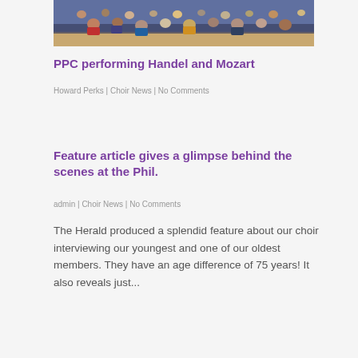[Figure (photo): Audience seated in an auditorium viewed from behind, rows of people in chairs facing a stage]
PPC performing Handel and Mozart
Howard Perks | Choir News | No Comments
Feature article gives a glimpse behind the scenes at the Phil.
admin | Choir News | No Comments
The Herald produced a splendid feature about our choir interviewing our youngest and one of our oldest members. They have an age difference of 75 years! It also reveals just...